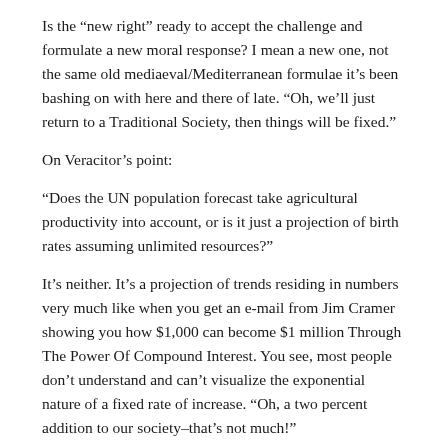Is the “new right” ready to accept the challenge and formulate a new moral response? I mean a new one, not the same old mediaeval/Mediterranean formulae it’s been bashing on with here and there of late. “Oh, we’ll just return to a Traditional Society, then things will be fixed.”
On Veracitor’s point:
“Does the UN population forecast take agricultural productivity into account, or is it just a projection of birth rates assuming unlimited resources?”
It’s neither. It’s a projection of trends residing in numbers very much like when you get an e-mail from Jim Cramer showing you how $1,000 can become $1 million Through The Power Of Compound Interest. You see, most people don’t understand and can’t visualize the exponential nature of a fixed rate of increase. “Oh, a two percent addition to our society–that’s not much!”
Think of Al-Berthat is his last name point: “If someone to…